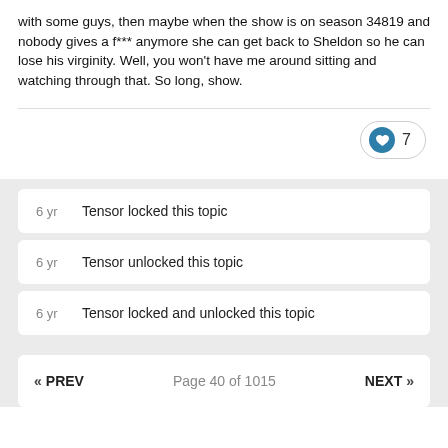with some guys, then maybe when the show is on season 34819 and nobody gives a f*** anymore she can get back to Sheldon so he can lose his virginity. Well, you won't have me around sitting and watching through that. So long, show.
6 yr   Tensor locked this topic
6 yr   Tensor unlocked this topic
6 yr   Tensor locked and unlocked this topic
« PREV   Page 40 of 1015   NEXT »